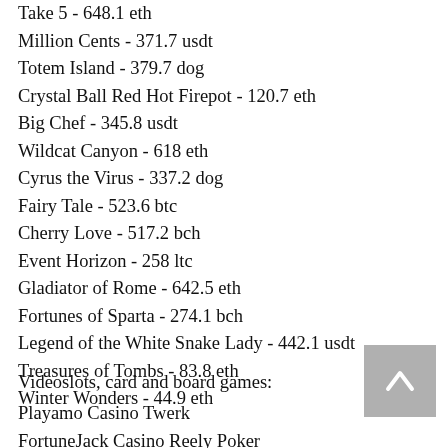Take 5 - 648.1 eth
Million Cents - 371.7 usdt
Totem Island - 379.7 dog
Crystal Ball Red Hot Firepot - 120.7 eth
Big Chef - 345.8 usdt
Wildcat Canyon - 618 eth
Cyrus the Virus - 337.2 dog
Fairy Tale - 523.6 btc
Cherry Love - 517.2 bch
Event Horizon - 258 ltc
Gladiator of Rome - 642.5 eth
Fortunes of Sparta - 274.1 bch
Legend of the White Snake Lady - 442.1 usdt
Treasures of Tombs - 83.8 eth
Winter Wonders - 44.9 eth
Videoslots, card and board games:
Playamo Casino Twerk
FortuneJack Casino Reely Poker
mBTC free bet W[...] Slot 2